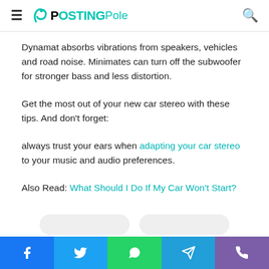PostingPole
Dynamat absorbs vibrations from speakers, vehicles and road noise. Minimates can turn off the subwoofer for stronger bass and less distortion.
Get the most out of your new car stereo with these tips. And don't forget:
always trust your ears when adapting your car stereo to your music and audio preferences.
Also Read: What Should I Do If My Car Won't Start?
Social share bar: Facebook, Twitter, WhatsApp, Telegram, Phone